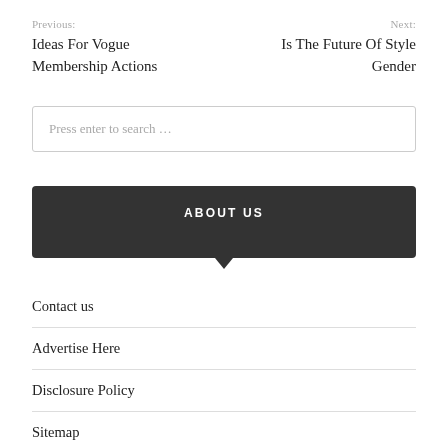Previous: Ideas For Vogue Membership Actions
Next: Is The Future Of Style Gender
Press enter to search …
ABOUT US
Contact us
Advertise Here
Disclosure Policy
Sitemap